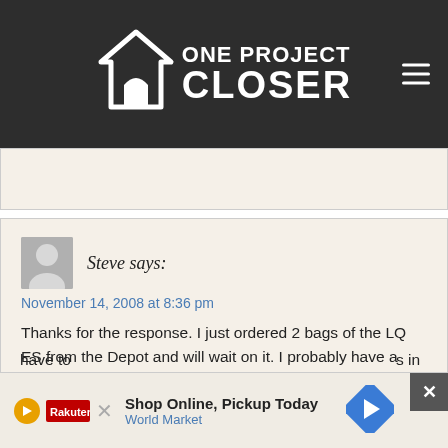[Figure (logo): One Project Closer website logo - white house icon with text 'ONE PROJECT CLOSER' on dark gray background]
Steve says:
November 14, 2008 at 8:36 pm
Thanks for the response. I just ordered 2 bags of the LQ ES from the Depot and will wait on it. I probably have a week or two to plan things out. I wonder if the LQ RS I had might have been a little old and that sped things up a bit. I noticed from you video that your LQ ES flowed much faster than my stuff. How long do you think you have to recover... s in
[Figure (screenshot): Advertisement banner: Shop Online, Pickup Today - World Market, with orange arrow icon]